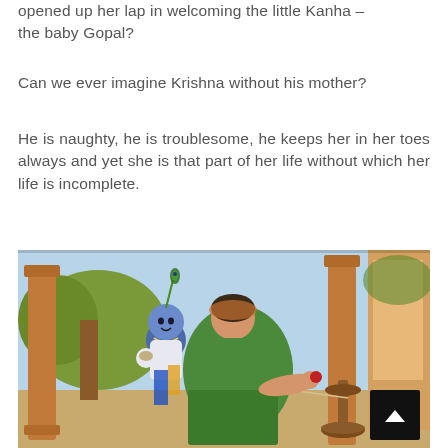opened up her lap in welcoming the little Kanha – the baby Gopal?
Can we ever imagine Krishna without his mother?
He is naughty, he is troublesome, he keeps her in her toes always and yet she is that part of her life without which her life is incomplete.
[Figure (illustration): Traditional Indian painting depicting baby Krishna (Kanha/Gopal) with peacock feather, standing beside his mother Yashoda who is seated and spinning thread, with ornate columns and garden background in classical Indian art style.]